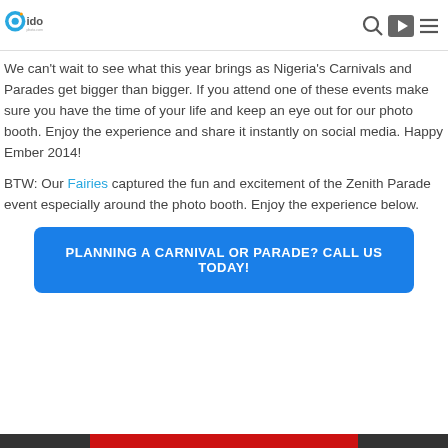Oido [logo] [search icon] [play icon] [menu icon]
We can’t wait to see what this year brings as Nigeria’s Carnivals and Parades get bigger than bigger. If you attend one of these events make sure you have the time of your life and keep an eye out for our photo booth. Enjoy the experience and share it instantly on social media. Happy Ember 2014!
BTW: Our Fairies captured the fun and excitement of the Zenith Parade event especially around the photo booth. Enjoy the experience below.
PLANNING A CARNIVAL OR PARADE? CALL US TODAY!